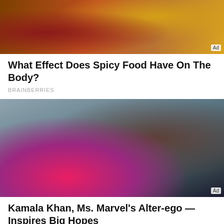[Figure (photo): Top portion of an advertisement image showing decorative henna/mehndi design in reddish-brown tones with warm golden tones, with an Ad badge in bottom-right corner]
What Effect Does Spicy Food Have On The Body?
BRAINBERRIES
[Figure (photo): Movie still showing Kamala Khan in Ms. Marvel superhero costume (pink/blue with gold star) facing a teenage boy wearing a red beanie and dark jacket, with city skyscrapers in background. Ad badge in bottom-right corner.]
Kamala Khan, Ms. Marvel's Alter-ego — Inspires Big Hopes
BRAINBERRIES
[Figure (photo): Bottom strip of another image, partially visible, dark tones]